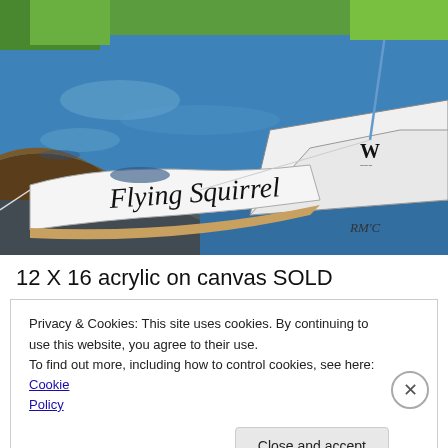[Figure (illustration): Painting showing a boat named 'Flying Squirrel' on blue water with shoreline. The boat is white with the name painted on its bow in black script lettering. There is a 'W' logo on the boat. Signed 'RMC' in bottom right. The background shows water, trees and land.]
12 X 16 acrylic on canvas SOLD
Privacy & Cookies: This site uses cookies. By continuing to use this website, you agree to their use.
To find out more, including how to control cookies, see here: Cookie Policy